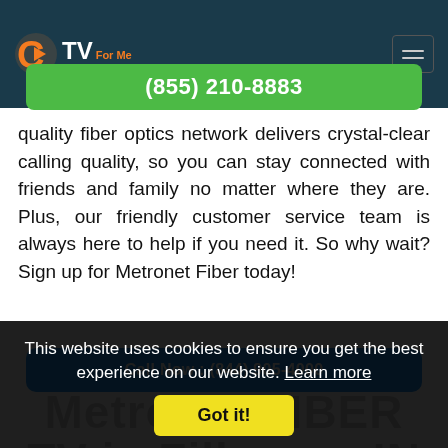CTVForMe Internet Service Providers — (855) 210-8883
quality fiber optics network delivers crystal-clear calling quality, so you can stay connected with friends and family no matter where they are. Plus, our friendly customer service team is always here to help if you need it. So why wait? Sign up for Metronet Fiber today!
Call Now : (844) 905-4000
Metronet FIBER TV in Fillmore, IN
This website uses cookies to ensure you get the best experience on our website. Learn more
Got it!